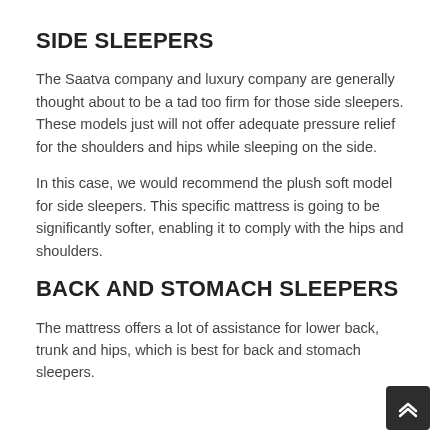SIDE SLEEPERS
The Saatva company and luxury company are generally thought about to be a tad too firm for those side sleepers. These models just will not offer adequate pressure relief for the shoulders and hips while sleeping on the side.
In this case, we would recommend the plush soft model for side sleepers. This specific mattress is going to be significantly softer, enabling it to comply with the hips and shoulders.
BACK AND STOMACH SLEEPERS
The mattress offers a lot of assistance for lower back, trunk and hips, which is best for back and stomach sleepers.